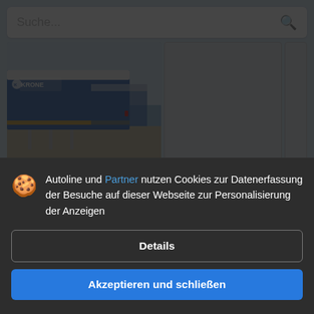Suche...
[Figure (photo): Blue Krone trailer truck parked on a gravel lot with other trailers in background]
KRONE ZABUDOWA KRONE BDF 7.45x2.50 FIRANKA S
4.975 € Netto
Autoline und Partner nutzen Cookies zur Datenerfassung der Besuche auf dieser Webseite zur Personalisierung der Anzeigen
Details
Akzeptieren und schließen